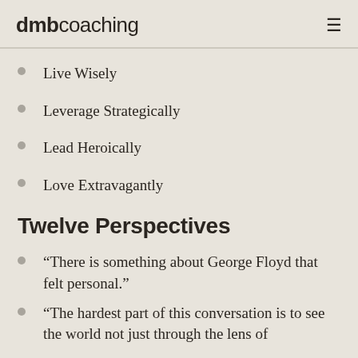dmb coaching
Live Wisely
Leverage Strategically
Lead Heroically
Love Extravagantly
Twelve Perspectives
“There is something about George Floyd that felt personal.”
“The hardest part of this conversation is to see the world not just through the lens of